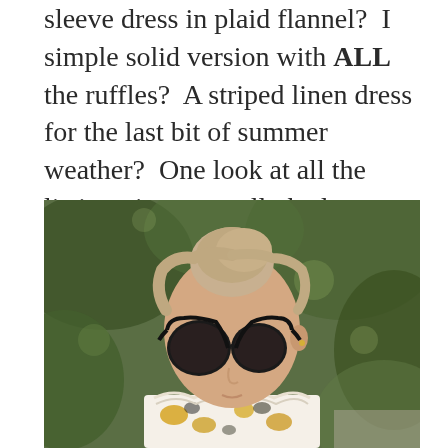sleeve dress in plaid flannel?  I simple solid version with ALL the ruffles?  A striped linen dress for the last bit of summer weather?  One look at all the listing pictures really had my mind reeling.  So.Many.Options!
[Figure (photo): A young woman with blonde hair in a top bun, wearing large black cat-eye sunglasses, looking downward. She is wearing a white dress with yellow and black floral/leaf pattern at the neckline with ruffles. Background is blurred green foliage.]